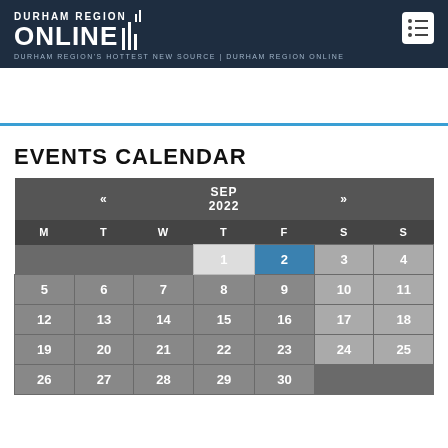DURHAM REGION ONLINE — DURHAM REGION'S HOTTEST NEW SOURCE | DURHAM REGION ONLINE
EVENTS CALENDAR
| M | T | W | T | F | S | S |
| --- | --- | --- | --- | --- | --- | --- |
|  |  |  | 1 | 2 | 3 | 4 |
| 5 | 6 | 7 | 8 | 9 | 10 | 11 |
| 12 | 13 | 14 | 15 | 16 | 17 | 18 |
| 19 | 20 | 21 | 22 | 23 | 24 | 25 |
| 26 | 27 | 28 | 29 | 30 |  |  |